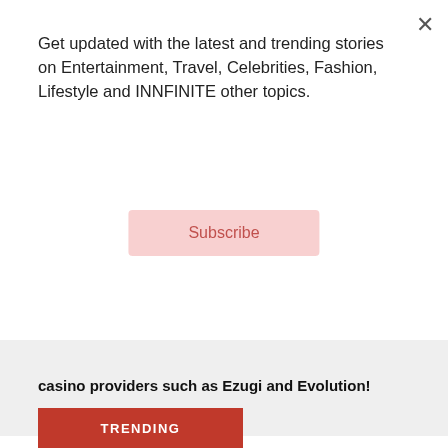Get updated with the latest and trending stories on Entertainment, Travel, Celebrities, Fashion, Lifestyle and INNFINITE other topics.
Subscribe
casino providers such as Ezugi and Evolution!
Tap into that amazing playing experience whenever you like when you play roulette online for real money at Pure Win. Simply deposit via your preferred method, select a real money roulette table, and place your bet.
TRENDING